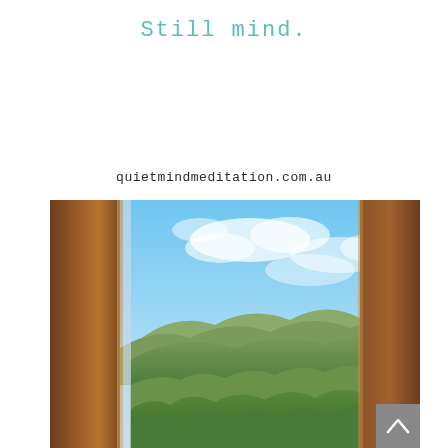Still mind.
quietmindmeditation.com.au
[Figure (photo): View through an open wooden-framed window showing a blue sky with wispy clouds, rolling green hills covered in vegetation in the middle distance, and lush green treetops in the foreground. The window frame on the left is brown wood, partially open inward. The right side of the frame is also brown wood. A 'scroll to top' button with a chevron/caret symbol appears in the bottom-right corner over a grey background.]